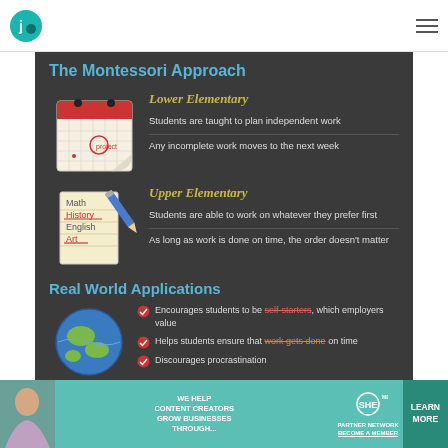The Montessori Approach
[Figure (illustration): Red-topped calendar/planner illustration with a circled date]
Lower Elementary
Students are taught to plan independent work
Any incomplete work moves to the next week
[Figure (illustration): Yellow notepad with handwritten subjects (Math, History, English, Art) and a pencil]
Upper Elementary
Students are able to work on whatever they prefer first
As long as work is done on time, the order doesn't matter
Real World Applications
[Figure (illustration): Globe/Earth illustration]
Encourages students to be self-starters, which employers value
Helps students ensure that work gets done on time
Discourages procrastination
[Figure (infographic): Advertisement banner: WE HELP CONTENT CREATORS GROW BUSINESSES THROUGH... SHE PARTNER NETWORK BECOME A MEMBER, LEARN MORE]